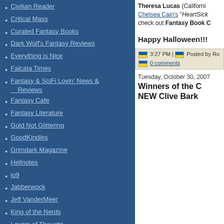Civilian Reader
Critical Mass
Curated Fantasy Books
Dark Wolf's Fantasy Reviews
Everything is Nice
Falcata Times
Fantasy & SciFi Lovin' News & Reviews
Fantasy Cafe
Fantasy Literature
Gold Not Glittering
GoodKindles
Grimdark Magazine
Hellnotes
io9
Jabberwock
Jeff VanderMeer
King of the Nerds
Layers of Thought
Lynn's Book Blog
Neth Space
Novel Notions
Omnivoracious
Only The Best Science Fiction & Fantasy
Pat's Fantasy Hotlist
Theresa Lucas (California... Chelsea Cain's "HeartSick... check out Fantasy Book C...
Happy Halloween!!!
3:27 PM | Posted by Ro...
0 comments
Tuesday, October 30, 2007
Winners of the C... NEW Clive Bark...
[Figure (photo): Purple and dark abstract painting, appears to be a book cover]